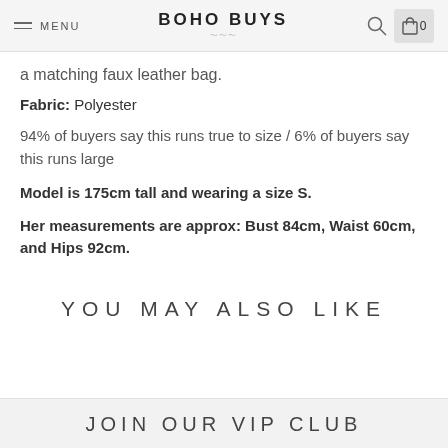MENU | BOHO BUYS | Search | Cart 0
a matching faux leather bag.
Fabric: Polyester
94% of buyers say this runs true to size / 6% of buyers say this runs large
Model is 175cm tall and wearing a size S.
Her measurements are approx: Bust 84cm, Waist 60cm, and Hips 92cm.
YOU MAY ALSO LIKE
JOIN OUR VIP CLUB